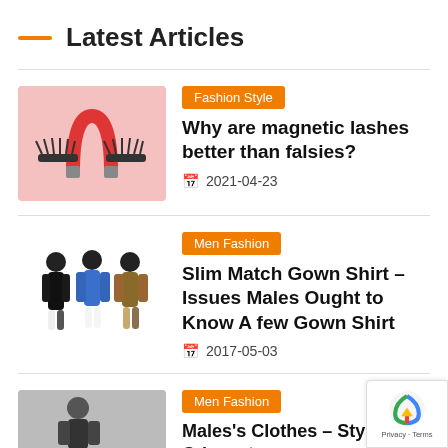Latest Articles
[Figure (photo): Pink background with magnetic lashes and a magnet horseshoe shape in red/pink]
Fashion Style
Why are magnetic lashes better than falsies?
2021-04-23
[Figure (photo): Three male models posing in fashionable casual outfits on white background]
Men Fashion
Slim Match Gown Shirt – Issues Males Ought to Know A few Gown Shirt
2017-05-03
[Figure (photo): Male model on street in stylish outfit]
Men Fashion
Males's Clothes – Style Crimes to